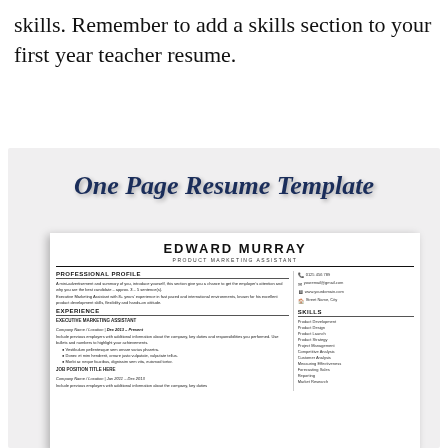skills. Remember to add a skills section to your first year teacher resume.
[Figure (illustration): A decorative image showing a resume template example. At the top, cursive script text reads 'One Page Resume Template' on a light grey background. Below is a sample resume for 'EDWARD MURRAY - PRODUCT MARKETING ASSISTANT' with sections for Professional Profile, Experience, and Skills.]